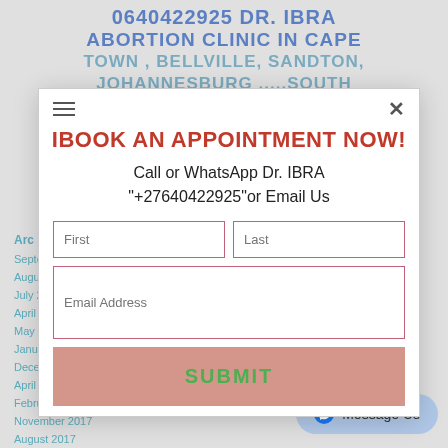0640422925 DR. IBRA ABORTION CLINIC IN CAPE TOWN , BELLVILLE, SANDTON, JOHANNESBURG .....SOUTH AFRICA
BOOK AN APPOINTMENT NOW!
Call or WhatsApp Dr. IBRA "+27640422925"or Email Us
September 2021
August 2021
July 2020
April 2020
May 2019
January 2019
December 2018
April 2018
February 2018
November 2017
August 2017
First | Last
Email Address
SUBMIT
Message Us